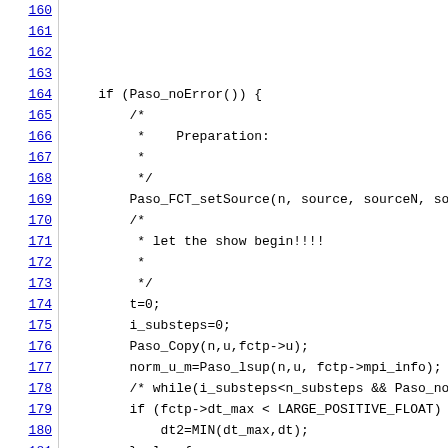Source code listing, lines 160-182
160      fc
161      fc
162      fc
163
164  if (Paso_noError()) {
165      /*
166       *    Preparation:
167       *
168       */
169      Paso_FCT_setSource(n, source, sourceN, sourc
170      /*
171       * let the show begin!!!!
172       *
173       */
174      t=0;
175      i_substeps=0;
176      Paso_Copy(n,u,fctp->u);
177      norm_u_m=Paso_lsup(n,u, fctp->mpi_info);
178      /* while(i_substeps<n_substeps && Paso_noEr
179      if (fctp->dt_max < LARGE_POSITIVE_FLOAT) {
180          dt2=MIN(dt_max,dt);
181      } else {
182          dt2=dt;